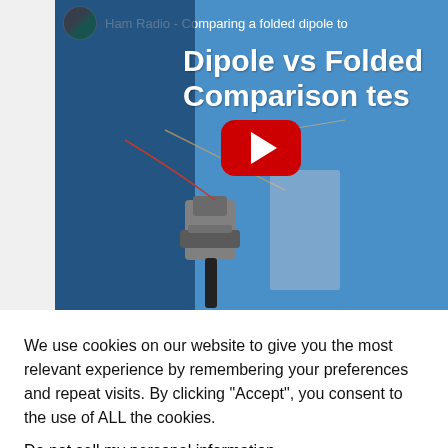[Figure (screenshot): YouTube video thumbnail showing 'Ham Radio - Comparing a folded dipole to... Dipole vs Folded ... Comparison tes...' with a ham radio antenna hardware image on a blue background, red YouTube play button in center, and a small avatar of the creator in top left.]
We use cookies on our website to give you the most relevant experience by remembering your preferences and repeat visits. By clicking “Accept”, you consent to the use of ALL the cookies.
Do not sell my personal information.
Cookie Settings
Accept